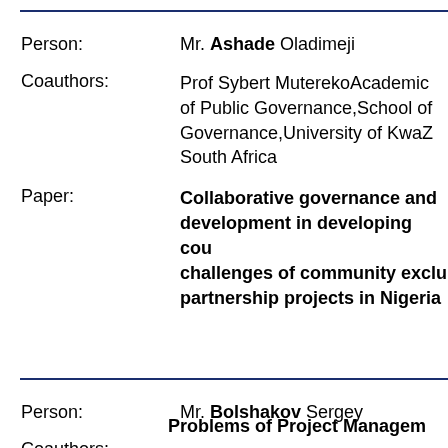| Person: | Mr. Ashade Oladimeji |
| Coauthors: | Prof Sybert MuterekoAcademic of Public Governance,School of Governance,University of KwaZ South Africa |
| Paper: | Collaborative governance and development in developing countries: challenges of community exclusion in partnership projects in Nigeria |
| Person: | Mr. Bolshakov Sergey |
| Coauthors: | - |
| Paper: | Problems of Project Management |